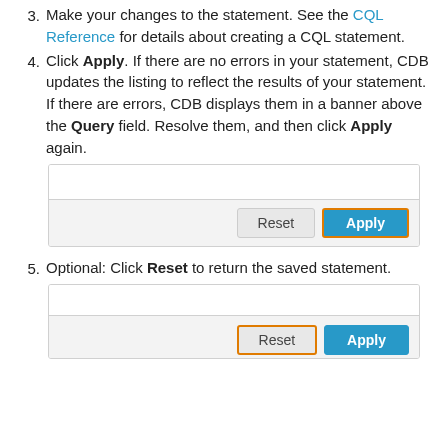3. Make your changes to the statement. See the CQL Reference for details about creating a CQL statement.
4. Click Apply. If there are no errors in your statement, CDB updates the listing to reflect the results of your statement. If there are errors, CDB displays them in a banner above the Query field. Resolve them, and then click Apply again.
[Figure (screenshot): A UI screenshot showing a query text area and two buttons: Reset (grey) and Apply (blue with orange highlight border).]
5. Optional: Click Reset to return the saved statement.
[Figure (screenshot): A UI screenshot showing a query text area and two buttons: Reset (grey with orange highlight border) and Apply (blue), partially visible at bottom of page.]